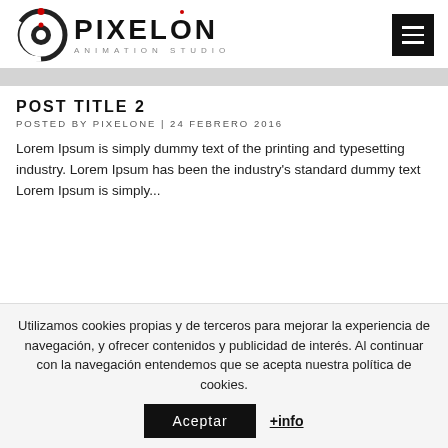[Figure (logo): Pixelon Animation Studio logo with circular P icon and text]
POST TITLE 2
POSTED BY PIXELONE | 24 FEBRERO 2016
Lorem Ipsum is simply dummy text of the printing and typesetting industry. Lorem Ipsum has been the industry's standard dummy text Lorem Ipsum is simply...
Utilizamos cookies propias y de terceros para mejorar la experiencia de navegación, y ofrecer contenidos y publicidad de interés. Al continuar con la navegación entendemos que se acepta nuestra política de cookies.